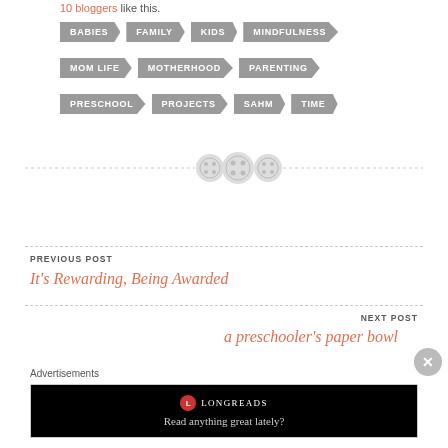10 bloggers like this.
BABIES
FAMILY
KIDS
MINDFULNESS
MOM LIFE
MOTHERHOOD
PARENTING
PRESCHOOL
PROJECTS
SAHM
TIME
[Figure (illustration): Three button/sewing icon circles as decorative divider]
PREVIOUS POST
It's Rewarding, Being Awarded
NEXT POST
a preschooler's paper bowl
Advertisements
[Figure (screenshot): Longreads advertisement: logo and text 'Read anything great lately?']